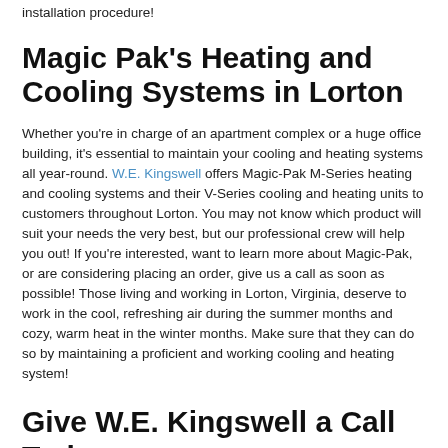installation procedure!
Magic Pak's Heating and Cooling Systems in Lorton
Whether you're in charge of an apartment complex or a huge office building, it's essential to maintain your cooling and heating systems all year-round. W.E. Kingswell offers Magic-Pak M-Series heating and cooling systems and their V-Series cooling and heating units to customers throughout Lorton. You may not know which product will suit your needs the very best, but our professional crew will help you out! If you're interested, want to learn more about Magic-Pak, or are considering placing an order, give us a call as soon as possible! Those living and working in Lorton, Virginia, deserve to work in the cool, refreshing air during the summer months and cozy, warm heat in the winter months. Make sure that they can do so by maintaining a proficient and working cooling and heating system!
Give W.E. Kingswell a Call Today